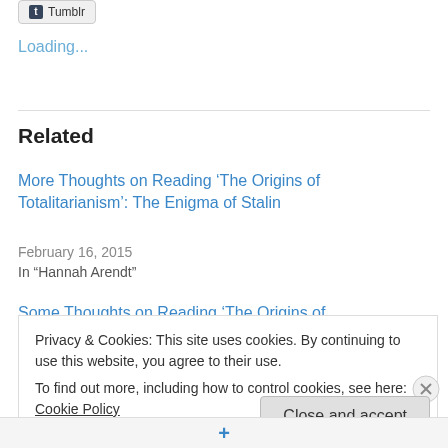[Figure (screenshot): Tumblr share button at top of page]
Loading...
Related
More Thoughts on Reading ‘The Origins of Totalitarianism’: The Enigma of Stalin
February 16, 2015
In “Hannah Arendt”
Some Thoughts on Reading ‘The Origins of Totalitarianism’
December 28, 2014
Privacy & Cookies: This site uses cookies. By continuing to use this website, you agree to their use.
To find out more, including how to control cookies, see here: Cookie Policy